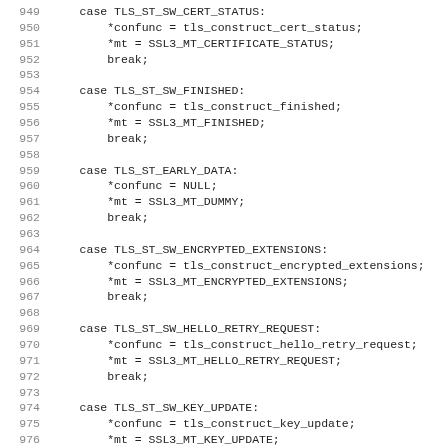[Figure (screenshot): Source code listing showing C switch-case statements for TLS state machine, lines 949-981, with line numbers on the left and monospace code on the right.]